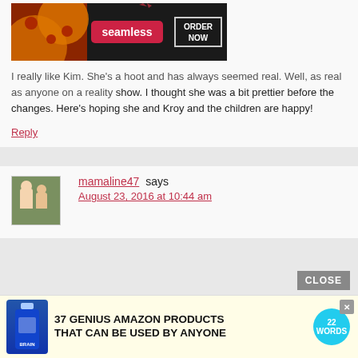[Figure (screenshot): Seamless pizza delivery advertisement banner with pizza image, Seamless red label, and ORDER NOW button]
I really like Kim. She's a hoot and has always seemed real. Well, as real as anyone on a reality show. I thought she was a bit prettier before the changes. Here's hoping she and Kroy and the children are happy!
Reply
[Figure (photo): User avatar photo of mamaline47 showing two people outdoors]
mamaline47 says
August 23, 2016 at 10:44 am
[Figure (screenshot): Advertisement: 37 GENIUS AMAZON PRODUCTS THAT CAN BE USED BY ANYONE with 22 Words badge and CLOSE button]